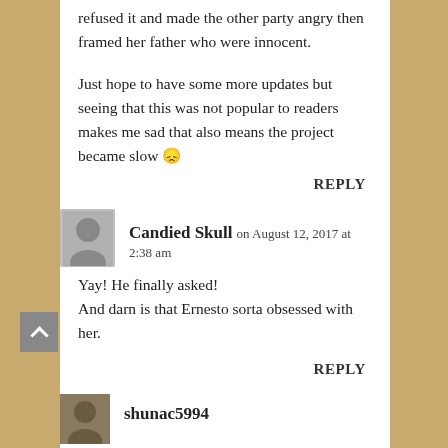refused it and made the other party angry then framed her father who were innocent.
Just hope to have some more updates but seeing that this was not popular to readers makes me sad that also means the project became slow 😕
REPLY
Candied Skull on August 12, 2017 at 2:38 am
Yay! He finally asked!
And darn is that Ernesto sorta obsessed with her.
REPLY